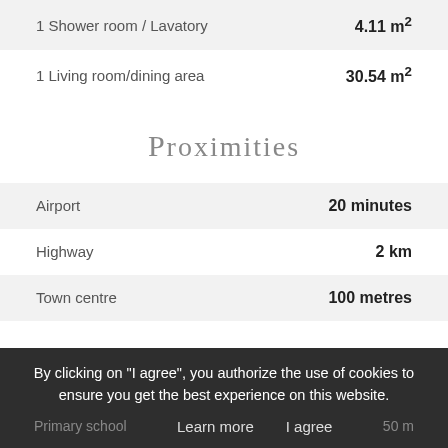1 Shower room / Lavatory    4.11 m²
1 Living room/dining area    30.54 m²
Proximities
Airport    20 minutes
Highway    2 km
Town centre    100 metres
By clicking on "I agree", you authorize the use of cookies to ensure you get the best experience on this website.
Primary school    50 m
Learn more    I agree